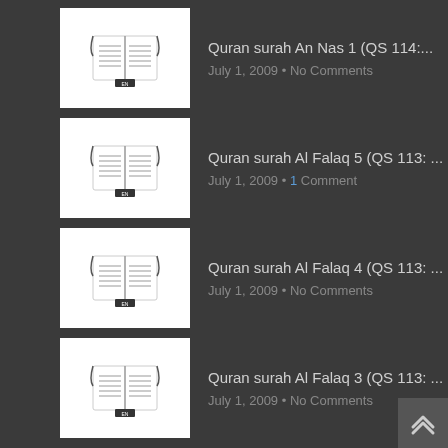Quran surah An Nas 1 (QS 114:... July 1, 2009 • No Comments
Quran surah Al Falaq 5 (QS 113: ... July 1, 2009 • 1 Comment
Quran surah Al Falaq 4 (QS 113: ... July 1, 2009 • No Comments
Quran surah Al Falaq 3 (QS 113: ... July 1, 2009 • No Comments
RECENT COMMENTS
Rizwan Wai on Quran surah Al Hujurat 4 (QS 49: 4) in arabic and english translation